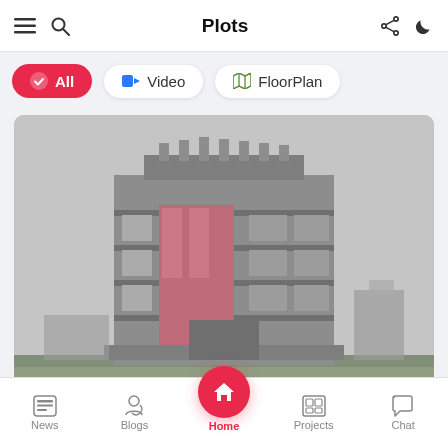Plots
All
Video
FloorPlan
[Figure (photo): Blurred/pixelated rendering of a multi-storey building with pink/mauve facade elements and grey concrete exterior, shown against an overcast sky. Location badge reads 'Bahawalpur'.]
For Sale
News  Blogs  Home  Projects  Chat